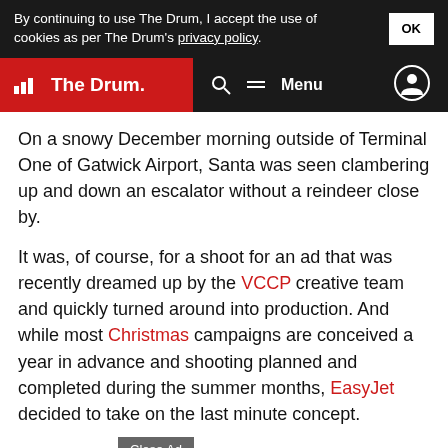By continuing to use The Drum, I accept the use of cookies as per The Drum's privacy policy. OK
The Drum — Menu
On a snowy December morning outside of Terminal One of Gatwick Airport, Santa was seen clambering up and down an escalator without a reindeer close by.
It was, of course, for a shoot for an ad that was recently dreamed up by the VCCP creative team and quickly turned around into production. And while most Christmas campaigns are conceived a year in advance and shooting planned and completed during the summer months, EasyJet decided to take on the last minute concept.
In fact, its Christmas campaign was still in the works exactly two weeks before the festive day itself.